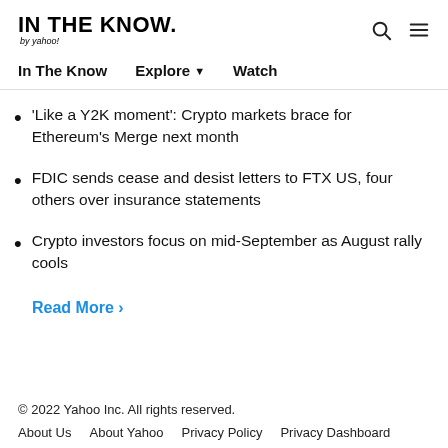IN THE KNOW. by yahoo!
'Like a Y2K moment': Crypto markets brace for Ethereum's Merge next month
FDIC sends cease and desist letters to FTX US, four others over insurance statements
Crypto investors focus on mid-September as August rally cools
Read More ›
© 2022 Yahoo Inc. All rights reserved.
About Us   About Yahoo   Privacy Policy   Privacy Dashboard